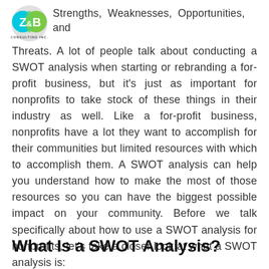Z&B Consulting Inc. — Strengths, Weaknesses, Opportunities, and Threats.
Threats. A lot of people talk about conducting a SWOT analysis when starting or rebranding a for-profit business, but it's just as important for nonprofits to take stock of these things in their industry as well. Like a for-profit business, nonprofits have a lot they want to accomplish for their communities but limited resources with which to accomplish them. A SWOT analysis can help you understand how to make the most of those resources so you can have the biggest possible impact on your community. Before we talk specifically about how to use a SWOT analysis for nonprofits, let's take a closer look at what a SWOT analysis is:
What Is a SWOT Analysis?